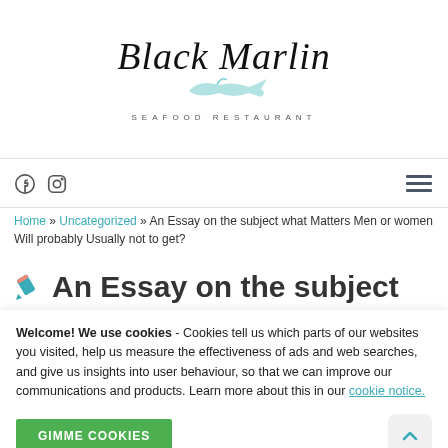[Figure (logo): Black Marlin Seafood Restaurant logo with cursive text and fish illustration]
[Figure (other): Social media icons (Facebook, Instagram) and hamburger menu icon]
Home » Uncategorized » An Essay on the subject what Matters Men or women Will probably Usually not to get?
✏ An Essay on the subject
Welcome! We use cookies - Cookies tell us which parts of our websites you visited, help us measure the effectiveness of ads and web searches, and give us insights into user behaviour, so that we can improve our communications and products. Learn more about this in our cookie notice.
GIMME COOKIES